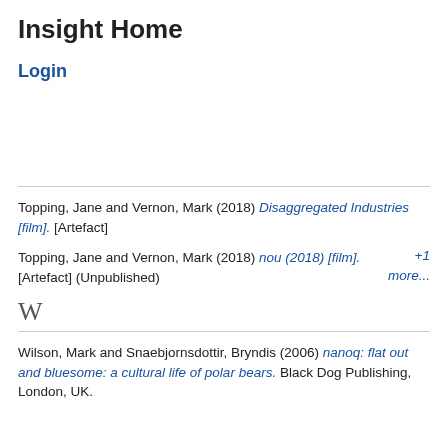Insight Home
Login
Topping, Jane and Vernon, Mark (2018) Disaggregated Industries [film]. [Artefact]
Topping, Jane and Vernon, Mark (2018) nou (2018) [film]. [Artefact] (Unpublished) +1 more...
W
Wilson, Mark and Snaebjornsdottir, Bryndis (2006) nanoq: flat out and bluesome: a cultural life of polar bears. Black Dog Publishing, London, UK.